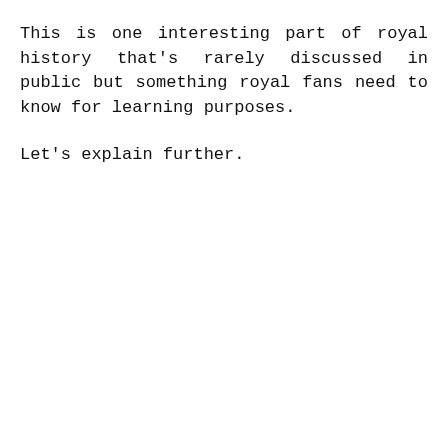This is one interesting part of royal history that's rarely discussed in public but something royal fans need to know for learning purposes.
Let's explain further.